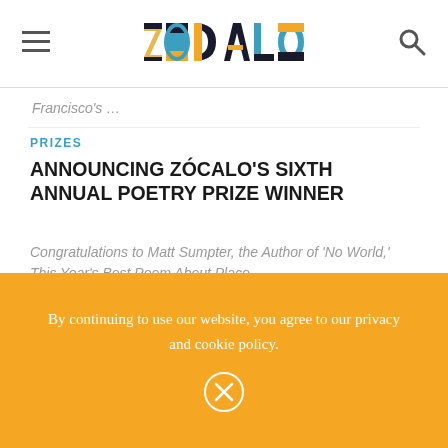Zócalo — navigation header with menu and search icons
Francisco's ...
PRIZES
ANNOUNCING ZÓCALO'S SIXTH ANNUAL POETRY PRIZE WINNER
Congratulations to Matt Sumpter, the Author of 'No World,' This Year's Best Poem About Place
[Figure (photo): Aerial/distant view of a city skyline (appears to be Cleveland) across a body of water under a hazy sky]
By continuing to use our website, you agree to our privacy and cookie policy.